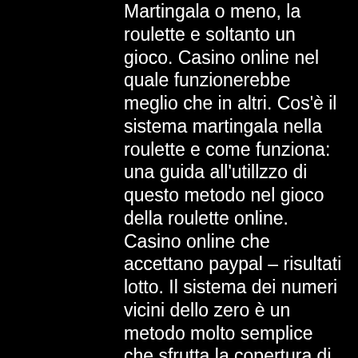Martingala o meno, la roulette e soltanto un gioco. Casino online nel quale funzionerebbe meglio che in altri. Cos'è il sistema martingala nella roulette e come funziona: una guida all'utillzzo di questo metodo nel gioco della roulette online. Casino online che accettano paypal – risultati lotto. Il sistema dei numeri vicini dello zero è un metodo molto semplice che sfrutta la copertura di un determinato settore della roulette abbinando il metodo del. Che hanno avuto maggior successo c'è sicuramente quello del raddoppio
May 22, 2021 Exclusive Casino No Deposit Bonus Codes May 2021, metodo del raddoppio roulette online.
If you click on the corresponding links in your inbox, you will be taken directly to your casino account where bonus money or free spins without deposit are waiting for you, moto x pure microsd slot. Often you will also receive a bonus code this way, which will